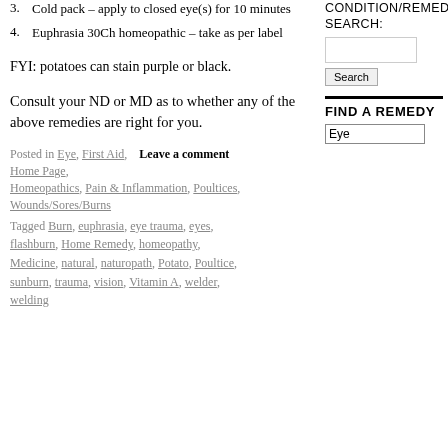3. Cold pack – apply to closed eye(s) for 10 minutes
4. Euphrasia 30Ch homeopathic – take as per label
FYI: potatoes can stain purple or black.
Consult your ND or MD as to whether any of the above remedies are right for you.
Posted in Eye, First Aid,   Leave a comment   Home Page, Homeopathics, Pain & Inflammation, Poultices, Wounds/Sores/Burns
Tagged Burn, euphrasia, eye trauma, eyes, flashburn, Home Remedy, homeopathy, Medicine, natural, naturopath, Potato, Poultice, sunburn, trauma, vision, Vitamin A, welder, welding
CONDITION/REMEDY SEARCH:
Search
FIND A REMEDY
Eye